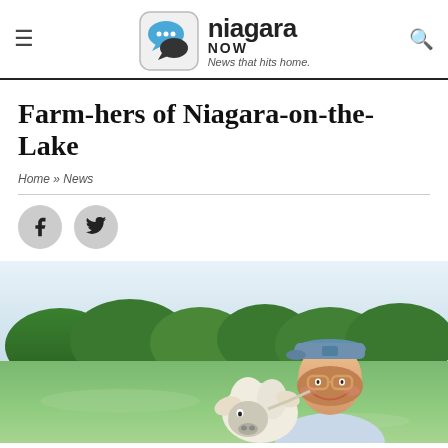niagara NOW — News that hits home.
Farm-hers of Niagara-on-the-Lake
Home » News
[Figure (photo): Woman wearing a blue cap and glasses smiling while a sheep nuzzles her face, outdoors in a green field with trees in the background.]